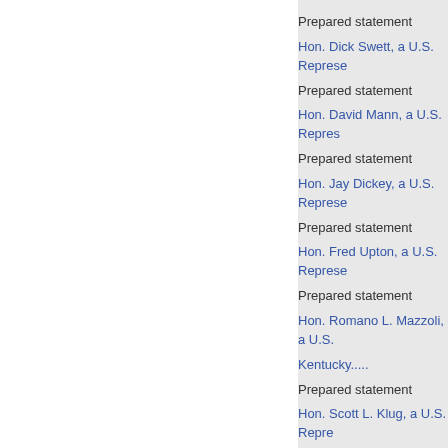Prepared statement
Hon. Dick Swett, a U.S. Represe
Prepared statement
Hon. David Mann, a U.S. Repres
Prepared statement
Hon. Jay Dickey, a U.S. Represe
Prepared statement
Hon. Fred Upton, a U.S. Represe
Prepared statement
Hon. Romano L. Mazzoli, a U.S.
Kentucky.....
Prepared statement
Hon. Scott L. Klug, a U.S. Repre
Prepared statement.
19
122
20